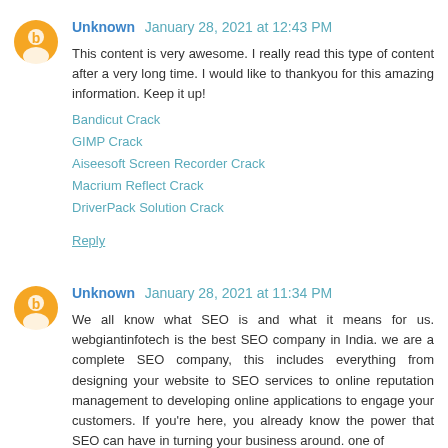Unknown  January 28, 2021 at 12:43 PM
This content is very awesome. I really read this type of content after a very long time. I would like to thankyou for this amazing information. Keep it up!
Bandicut Crack
GIMP Crack
Aiseesoft Screen Recorder Crack
Macrium Reflect Crack
DriverPack Solution Crack
Reply
Unknown  January 28, 2021 at 11:34 PM
We all know what SEO is and what it means for us. webgiantinfotech is the best SEO company in India. we are a complete SEO company, this includes everything from designing your website to SEO services to online reputation management to developing online applications to engage your customers. If you're here, you already know the power that SEO can have in turning your business around. one of